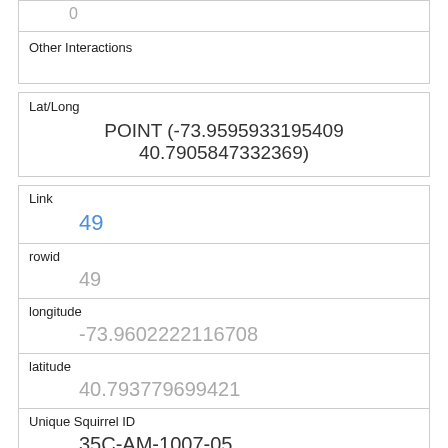| Other Interactions |  |
| Lat/Long | POINT (-73.9595933195409 40.7905847332369) |
| Link | 49 |
| rowid | 49 |
| longitude | -73.9602222116708 |
| latitude | 40.793779699421 |
| Unique Squirrel ID | 35C-AM-1007-05 |
| Hectare | 35C |
| Shift | AM |
| Date |  |